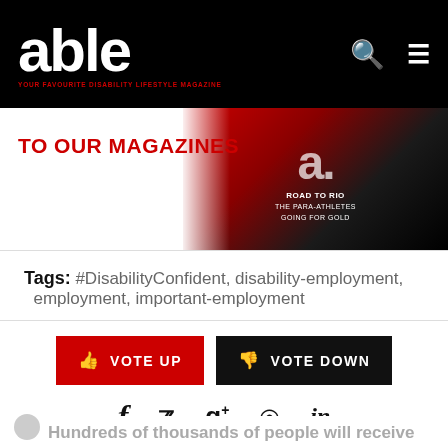able magazine - YOUR FAVOURITE DISABILITY LIFESTYLE MAGAZINE
[Figure (screenshot): Magazine subscription banner with 'TO OUR MAGAZINES' in red text and magazine covers on the right]
Tags: #DisabilityConfident, disability-employment, employment, important-employment
[Figure (infographic): VOTE UP (red button) and VOTE DOWN (black button) voting buttons with thumbs up/down icons]
[Figure (infographic): Social media sharing icons: Facebook, Twitter, Google+, Pinterest, LinkedIn]
Hundreds of thousands of people will receive